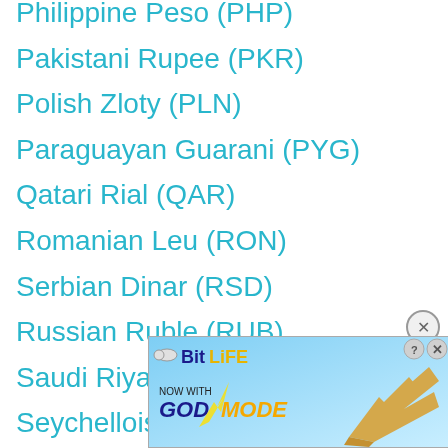Philippine Peso (PHP)
Pakistani Rupee (PKR)
Polish Zloty (PLN)
Paraguayan Guarani (PYG)
Qatari Rial (QAR)
Romanian Leu (RON)
Serbian Dinar (RSD)
Russian Ruble (RUB)
Saudi Riyal (SAR)
Seychellois Rupee (SCR)
Swedish Krona (SEK)
Singa...
Slova...
[Figure (screenshot): BitLife advertisement banner with 'NOW WITH GOD MODE' text and cartoon hand graphic]